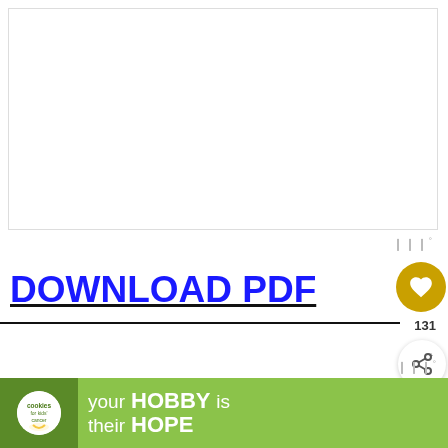[Figure (other): White rectangular area representing an embedded PDF viewer or blank content area]
DOWNLOAD PDF
[Figure (illustration): Monster text in outlined bubble letters, partially visible]
[Figure (infographic): What's Next panel with Halloween Scavenger Hunt thumbnail and text]
[Figure (infographic): Cookies for Kids Cancer ad banner: 'your HOBBY is their HOPE']